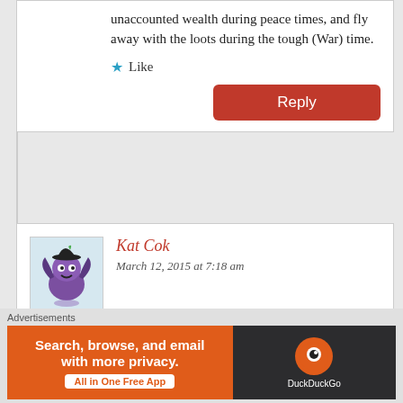unaccounted wealth during peace times, and fly away with the loots during the tough (War) time.
★ Like
Reply
Kat Cok
March 12, 2015 at 7:18 am
you are in North America, you have nothing with what South Sudanese are doing.
[Figure (illustration): Purple cartoon monster avatar with bat wings and a witch hat]
Advertisements
[Figure (infographic): DuckDuckGo advertisement banner: Search, browse, and email with more privacy. All in One Free App]